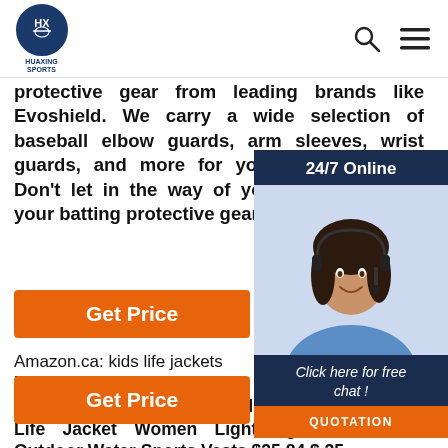HUAXING SPORTS — navigation bar with logo, search, and menu icons
protective gear from leading brands like Evoshield. We carry a wide selection of baseball elbow guards, arm sleeves, wrist guards, and more for your season ahead. Don't let in the way of your season, shield your batting protective gear ...
Get Price
[Figure (photo): Customer service representative woman wearing headset, smiling, with 24/7 Online label and Click here for free chat! text and QUOTATION button, dark blue background overlay widget]
Amazon.ca: kids life jackets
Life Jacket Adult Kids Life Jackets Life Fishing Life Jacket for Kayaking Paddling Life Vest Kayak Life Jacket Women Lightweight Swim Vest Outdoor Water Sports Vests $25.84 $ 25 ...
Get Price
[Figure (other): TOP scroll-to-top button with dotted circle border in orange/red]